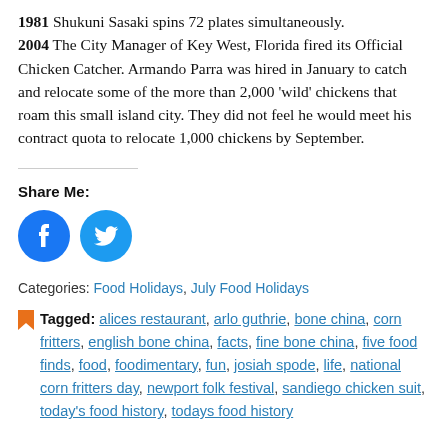1981 Shukuni Sasaki spins 72 plates simultaneously. 2004 The City Manager of Key West, Florida fired its Official Chicken Catcher. Armando Parra was hired in January to catch and relocate some of the more than 2,000 'wild' chickens that roam this small island city. They did not feel he would meet his contract quota to relocate 1,000 chickens by September.
Share Me:
[Figure (illustration): Facebook and Twitter share icon buttons (blue circles with white icons)]
Categories: Food Holidays, July Food Holidays
Tagged: alices restaurant, arlo guthrie, bone china, corn fritters, english bone china, facts, fine bone china, five food finds, food, foodimentary, fun, josiah spode, life, national corn fritters day, newport folk festival, sandiego chicken suit, today's food history, todays food history